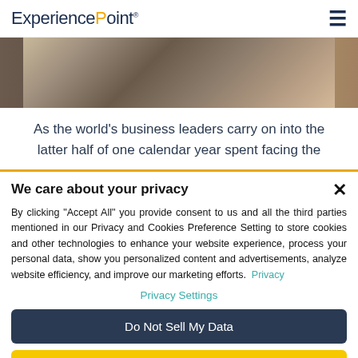ExperiencePoint
[Figure (photo): Partial view of a person working at a desk or filing cabinet in an office environment, cropped hero image]
As the world's business leaders carry on into the latter half of one calendar year spent facing the
We care about your privacy
By clicking "Accept All" you provide consent to us and all the third parties mentioned in our Privacy and Cookies Preference Setting to store cookies and other technologies to enhance your website experience, process your personal data, show you personalized content and advertisements, analyze website efficiency, and improve our marketing efforts. Privacy
Privacy Settings
Do Not Sell My Data
Accept All